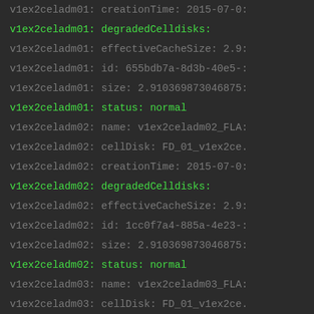v1ex2celadm01: creationTime: 2015-07-0:
v1ex2celadm01: degradedCelldisks:
v1ex2celadm01: effectiveCacheSize: 2.9:
v1ex2celadm01: id: 655bdb7a-8d3b-40e5-:
v1ex2celadm01: size: 2.9103698730468757
v1ex2celadm01: status: normal
v1ex2celadm02: name: v1ex2celadm02_FLA:
v1ex2celadm02: cellDisk: FD_01_v1ex2ce.
v1ex2celadm02: creationTime: 2015-07-0:
v1ex2celadm02: degradedCelldisks:
v1ex2celadm02: effectiveCacheSize: 2.9:
v1ex2celadm02: id: 1cc0f7a4-885a-4e23-:
v1ex2celadm02: size: 2.9103698730468757
v1ex2celadm02: status: normal
v1ex2celadm03: name: v1ex2celadm03_FLA:
v1ex2celadm03: cellDisk: FD_01_v1ex2ce.
v1ex2celadm03: creationTime: 2015-07-0:
v1ex2celadm03: degradedCelldisks: